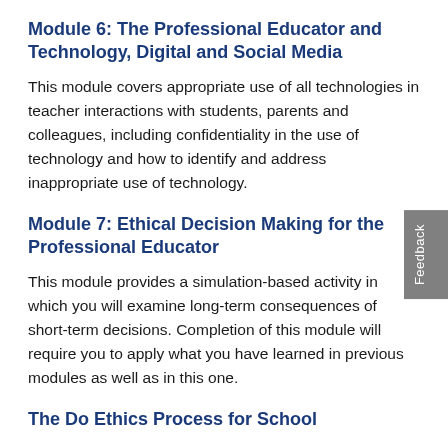Module 6: The Professional Educator and Technology, Digital and Social Media
This module covers appropriate use of all technologies in teacher interactions with students, parents and colleagues, including confidentiality in the use of technology and how to identify and address inappropriate use of technology.
Module 7: Ethical Decision Making for the Professional Educator
This module provides a simulation-based activity in which you will examine long-term consequences of short-term decisions. Completion of this module will require you to apply what you have learned in previous modules as well as in this one.
The Do Ethics Process for School...